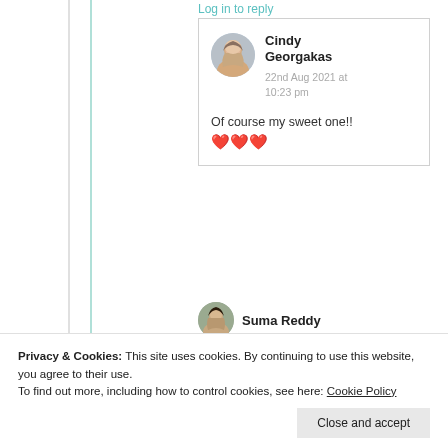Log in to reply
[Figure (photo): Circular avatar photo of Cindy Georgakas]
Cindy Georgakas
22nd Aug 2021 at 10:23 pm
Of course my sweet one!! ❤️❤️❤️
Privacy & Cookies: This site uses cookies. By continuing to use this website, you agree to their use. To find out more, including how to control cookies, see here: Cookie Policy
Close and accept
Suma Reddy